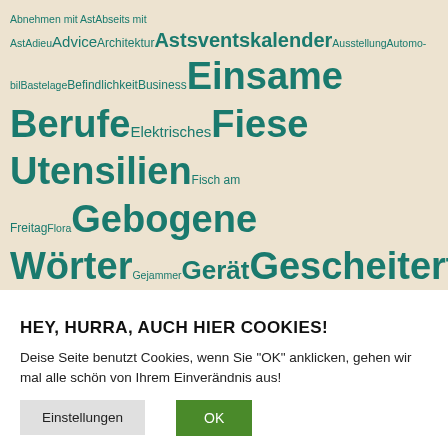[Figure (infographic): Tag cloud in teal/dark cyan color on a beige/cream textured background showing various German blog category tags in different font sizes indicating their frequency/weight. Tags include: Abnehmen mit Ast, Abseits mit Ast, Adieu, Advice, Architektur, Astsventskalender, Ausstellung, Automobil, Bastelage, Befindlichkeit, Business, Einsame Berufe, Elektrisches, Fiese Utensilien, Fisch am Freitag, Flora, Gebogene Wörter, Gejammer, Gerät, Gescheitertes, Gescheitertes Design, Glotze, Hühner, inktober, Jahrestage, Kassenklassiker, Kinners, Kintopp, Kulinarisches, Kunst, Landschaft, Literatur, Madam et Müsjö, Mode, Monster, Musik, Obst, Philosophie, Portrait, Sommergemüse, Sport, Tierchen, Urlaub, Veranstaltung, Wetter]
HEY, HURRA, AUCH HIER COOKIES!
Deise Seite benutzt Cookies, wenn Sie "OK" anklicken, gehen wir mal alle schön von Ihrem Einverändnis aus!
Einstellungen
OK